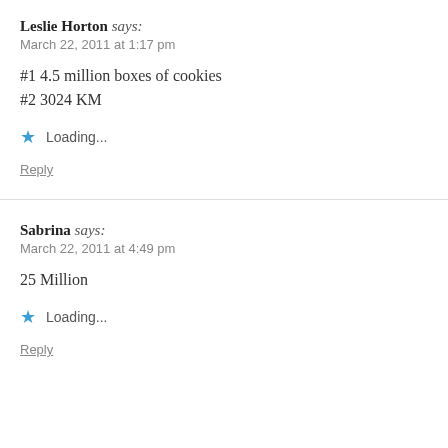Leslie Horton says:
March 22, 2011 at 1:17 pm
#1 4.5 million boxes of cookies
#2 3024 KM
Loading...
Reply
Sabrina says:
March 22, 2011 at 4:49 pm
25 Million
Loading...
Reply